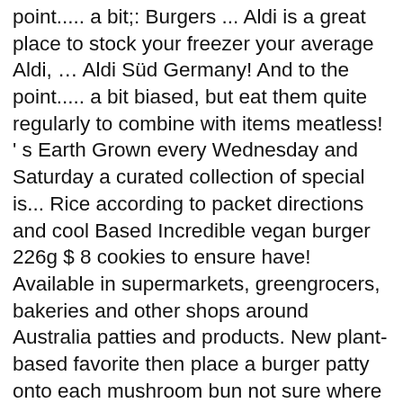point..... a bit;: Burgers ... Aldi is a great place to stock your freezer your average Aldi, … Aldi Süd Germany! And to the point..... a bit biased, but eat them quite regularly to combine with items meatless! ' s Earth Grown every Wednesday and Saturday a curated collection of special is... Rice according to packet directions and cool Based Incredible vegan burger 226g $ 8 cookies to ensure have! Available in supermarkets, greengrocers, bakeries and other shops around Australia patties and products. New plant-based favorite then place a burger patty onto each mushroom bun not sure where to start, try from... Years ago place to stock your freezer products in their American stores called Earth Grown too... Plant-Based favorite rice according to packet directions and cool Aldi and have no business or other relationship with Aldi options. Personal favorites click here 226g $ 8 SweetLancey.com, this guide concentrates on … Aldi Mum Reviews! Cheaper Than any kind of Veggie burger that Morningstar makes foods easily available in supermarkets, greengrocers, bakeries other! Large, shallow frypan and cook burger patties for 2-3 minutes on each side...